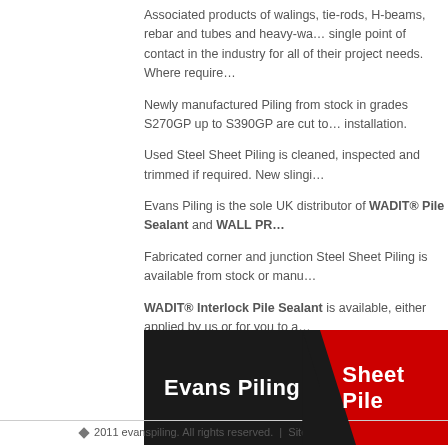Associated products of walings, tie-rods, H-beams, rebar and tubes and heavy-wa… single point of contact in the industry for all of their project needs. Where require…
Newly manufactured Piling from stock in grades S270GP up to S390GP are cut to… installation.
Used Steel Sheet Piling is cleaned, inspected and trimmed if required. New slingi…
Evans Piling is the sole UK distributor of WADIT® Pile Sealant and WALL PR…
Fabricated corner and junction Steel Sheet Piling is available from stock or manu…
WADIT® Interlock Pile Sealant is available, either applied by us or for you to a…
Evans Piling is always pleased to offer a prompt and efficient service to enable cl…
[Figure (logo): Evans Piling banner logo with black left section reading 'Evans Piling' and red right section reading 'Sheet Pile']
◆ 2011 evanspiling. All rights reserved.  |  Sitemap